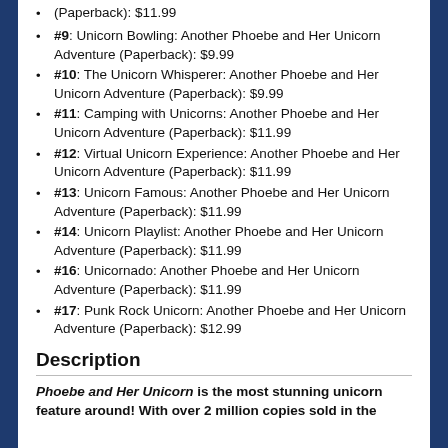(Paperback): $11.99
#9: Unicorn Bowling: Another Phoebe and Her Unicorn Adventure (Paperback): $9.99
#10: The Unicorn Whisperer: Another Phoebe and Her Unicorn Adventure (Paperback): $9.99
#11: Camping with Unicorns: Another Phoebe and Her Unicorn Adventure (Paperback): $11.99
#12: Virtual Unicorn Experience: Another Phoebe and Her Unicorn Adventure (Paperback): $11.99
#13: Unicorn Famous: Another Phoebe and Her Unicorn Adventure (Paperback): $11.99
#14: Unicorn Playlist: Another Phoebe and Her Unicorn Adventure (Paperback): $11.99
#16: Unicornado: Another Phoebe and Her Unicorn Adventure (Paperback): $11.99
#17: Punk Rock Unicorn: Another Phoebe and Her Unicorn Adventure (Paperback): $12.99
Description
Phoebe and Her Unicorn is the most stunning unicorn feature around! With over 2 million copies sold in the